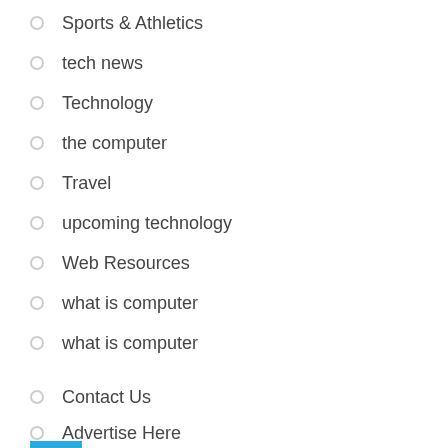Sports & Athletics
tech news
Technology
the computer
Travel
upcoming technology
Web Resources
what is computer
what is computer
Contact Us
Advertise Here
DISCLOSURE POLICY
SITEMAP